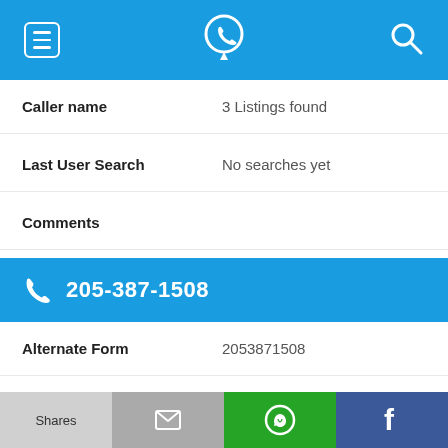[Figure (screenshot): Top navigation bar with hamburger menu icon, phone/location logo, and search icon on a blue background]
Caller name	3 Listings found
Last User Search	No searches yet
Comments
205-387-1508
Alternate Form	2053871508
Caller name	Digitaldollars
Last User Search	No searches yet
[Figure (screenshot): Bottom share bar with Shares button, email icon, WhatsApp icon, and Facebook icon]